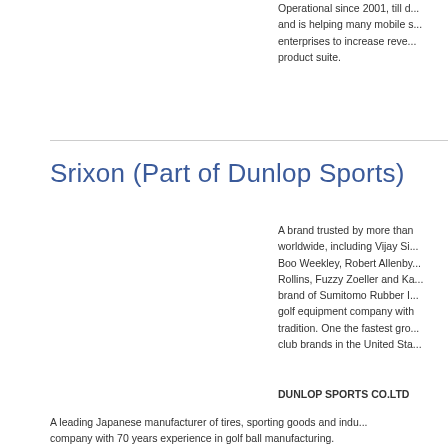Operational since 2001, till d... and is helping many mobile s... enterprises to increase reve... product suite.
Srixon (Part of Dunlop Sports)
A brand trusted by more than... worldwide, including Vijay Si... Boo Weekley, Robert Allenby... Rollins, Fuzzy Zoeller and Ka... brand of Sumitomo Rubber I... golf equipment company with... tradition. One the fastest gro... club brands in the United Sta...
DUNLOP SPORTS CO.LTD
A leading Japanese manufacturer of tires, sporting goods and indu... company with 70 years experience in golf ball manufacturing.